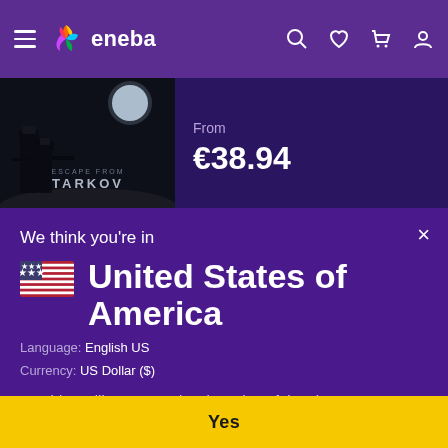eneba
[Figure (screenshot): Escape from Tarkov game image with soldiers in tactical gear]
From
€38.94
Chivalry II Epic Games Key GLOBAL
We think you're in
United States of America
Language: English US
Currency: US Dollar ($)
Would you like to see a local version of the site?
Yes